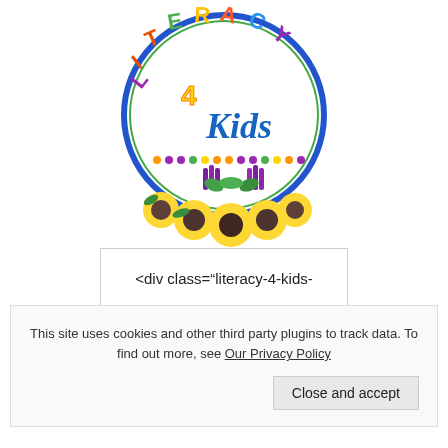[Figure (logo): Literacy 4 Kids circular logo with colorful letters spelling LITERACY arched at the top, '4 Kids' in blue script in the center, a row of colorful dots below, and sunflowers with purple flowers at the bottom, all inside a blue circle border]
<div class="literacy-4-kids-
This site uses cookies and other third party plugins to track data. To find out more, see Our Privacy Policy
Close and accept